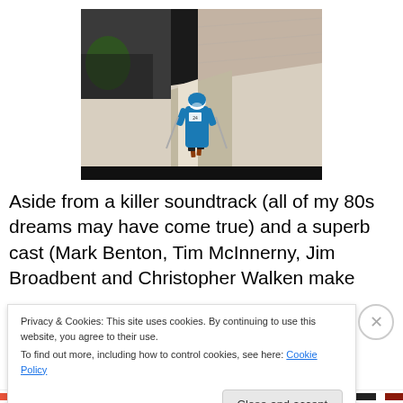[Figure (photo): Aerial view of a ski jumper in a blue suit at the top of a ski jump ramp, with a massive crowd filling a stadium in the background]
Aside from a killer soundtrack (all of my 80s dreams may have come true) and a superb cast (Mark Benton, Tim McInnerny, Jim Broadbent and Christopher Walken make
Privacy & Cookies: This site uses cookies. By continuing to use this website, you agree to their use.
To find out more, including how to control cookies, see here: Cookie Policy